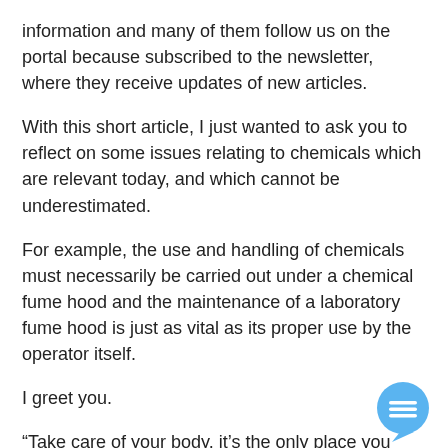information and many of them follow us on the portal because subscribed to the newsletter, where they receive updates of new articles.
With this short article, I just wanted to ask you to reflect on some issues relating to chemicals which are relevant today, and which cannot be underestimated.
For example, the use and handling of chemicals must necessarily be carried out under a chemical fume hood and the maintenance of a laboratory fume hood is just as vital as its proper use by the operator itself.
I greet you.
“Take care of your body, it’s the only place you have to live” Jim Rohn quote.
[Figure (other): Blue chat bubble icon with horizontal lines, positioned at bottom right corner]